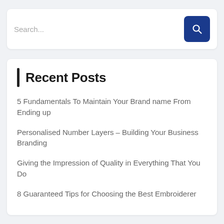[Figure (screenshot): Search bar with text 'Search...' and a dark blue search button with magnifying glass icon]
Recent Posts
5 Fundamentals To Maintain Your Brand name From Ending up
Personalised Number Layers – Building Your Business Branding
Giving the Impression of Quality in Everything That You Do
8 Guaranteed Tips for Choosing the Best Embroiderer